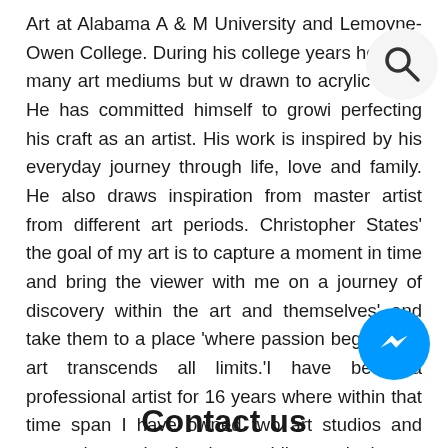Art at Alabama A & M University and Lemoyne-Owen College. During his college years he used many art mediums but was drawn to acrylic paint. He has committed himself to growing and perfecting his craft as an artist. His work is inspired by his everyday journey through life, love and family. He also draws inspiration from master artist from different art periods. Christopher States' the goal of my art is to capture a moment in time and bring the viewer with me on a journey of discovery within the art and themselves' and take them to a place 'where passion begins and art transcends all limits.'I have been a professional artist for 16 years where within that time span I have owned two art studios and currently teach visual art while continuing to explore art professionally.
[Figure (other): Search icon (magnifying glass) in a light grey circle, positioned top right]
[Figure (logo): Facebook Messenger icon in a blue circle, positioned bottom right]
Contact us